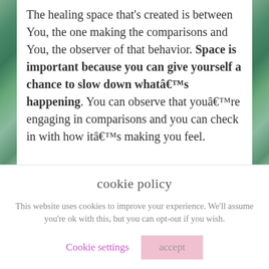The healing space that's created is between You, the one making the comparisons and You, the observer of that behavior. Space is important because you can give yourself a chance to slow down whatâ€™s happening. You can observe that youâ€™re engaging in comparisons and you can check in with how itâ€™s making you feel.
You can slow down even more and create
cookie policy
This website uses cookies to improve your experience. We'll assume you're ok with this, but you can opt-out if you wish.
Cookie settings | accept